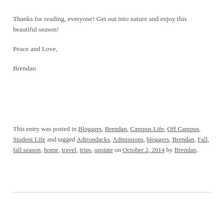Thanks for reading, everyone! Get out into nature and enjoy this beautiful season!
Peace and Love,
Brendan
This entry was posted in Bloggers, Brendan, Campus Life, Off Campus, Student Life and tagged Adirondacks, Admissions, bloggers, Brendan, Fall, fall season, home, travel, trips, upstate on October 2, 2014 by Brendan.